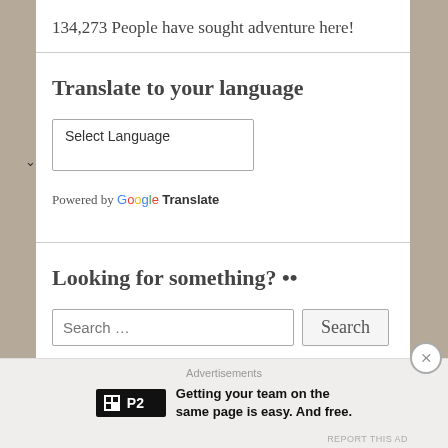134,273 People have sought adventure here!
Translate to your language
[Figure (screenshot): A dropdown widget labeled 'Select Language' with a chevron arrow, followed by 'Powered by Google Translate' text]
Looking for something? ••
[Figure (screenshot): A search input field with placeholder 'Search …' and a Search button]
Advertisements
[Figure (screenshot): P2 advertisement banner: Getting your team on the same page is easy. And free.]